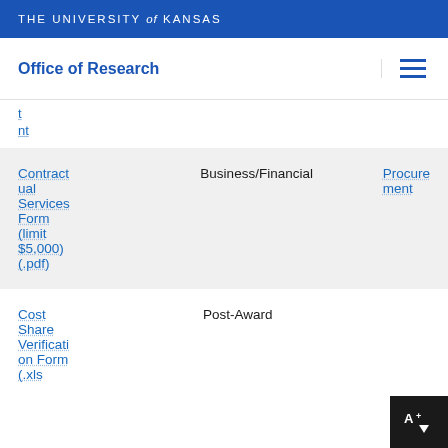THE UNIVERSITY of KANSAS
Office of Research
nt
| Contractual Services Form (limit $5,000) (.pdf) | Business/Financial | Procurement |
| --- | --- | --- |
Cost Share Verification Form (.xls)
Post-Award